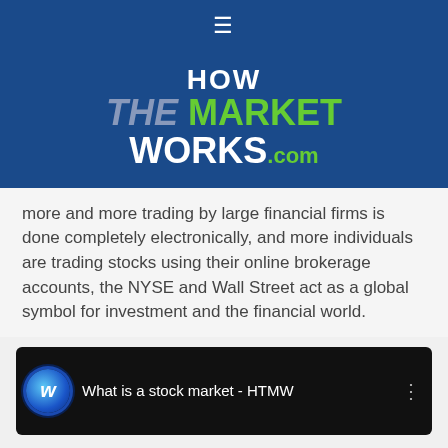[Figure (logo): HowTheMarketWorks.com logo on dark blue background with hamburger menu icon]
more and more trading by large financial firms is done completely electronically, and more individuals are trading stocks using their online brokerage accounts, the NYSE and Wall Street act as a global symbol for investment and the financial world.
[Figure (screenshot): YouTube video thumbnail showing 'What is a stock market - HTMW' with HTMW logo icon on black background]